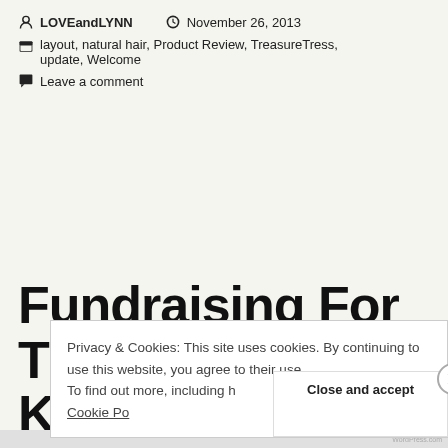LOVEandLYNN   November 26, 2013
layout, natural hair, Product Review, TreasureTress, update, Welcome
Leave a comment
Fundraising For The Kidneys
Privacy & Cookies: This site uses cookies. By continuing to use this website, you agree to their use.
To find out more, including how to control cookies, see here: Cookie Policy
Close and accept